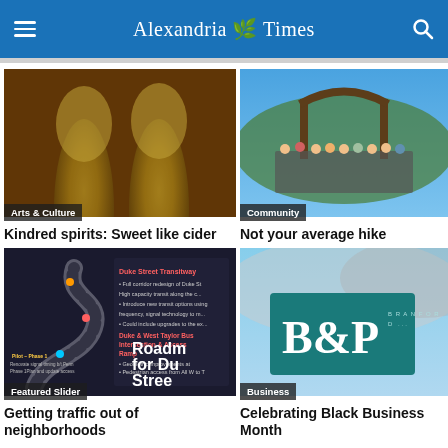Alexandria Times
[Figure (photo): Two glasses of white wine clinking together on a warm-toned background, with a dark overlay banner reading 'Arts & Culture']
Kindred spirits: Sweet like cider
[Figure (photo): Group of teenagers/youth standing under a wooden arch gate outdoors in a mountainous setting, with a dark overlay banner reading 'Community']
Not your average hike
[Figure (infographic): Dark background roadmap infographic showing a winding road plan for Duke Street, with text labels about transit phases and improvements, banner reading 'Featured Slider']
Getting traffic out of neighborhoods
[Figure (photo): Teal/green B&P sign at an outdoor business event with umbrellas in the background, banner reading 'Business']
Celebrating Black Business Month